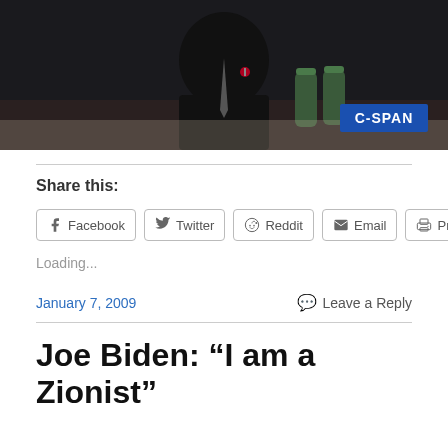[Figure (screenshot): C-SPAN video screenshot showing a person in a dark suit at a desk with water bottles, with a C-SPAN logo badge in the lower right corner]
Share this:
Facebook  Twitter  Reddit  Email  Print
Loading...
January 7, 2009
Leave a Reply
Joe Biden: “I am a Zionist”